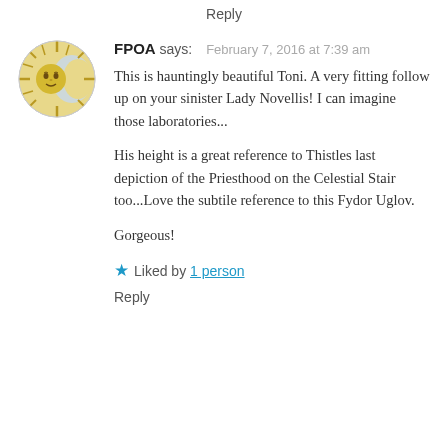Reply
[Figure (illustration): Circular avatar image depicting a golden sun face with moon motif, decorative illustration]
FPOA says:   February 7, 2016 at 7:39 am
This is hauntingly beautiful Toni. A very fitting follow up on your sinister Lady Novellis! I can imagine those laboratories...
His height is a great reference to Thistles last depiction of the Priesthood on the Celestial Stair too...Love the subtile reference to this Fydor Uglov.
Gorgeous!
★ Liked by 1 person
Reply